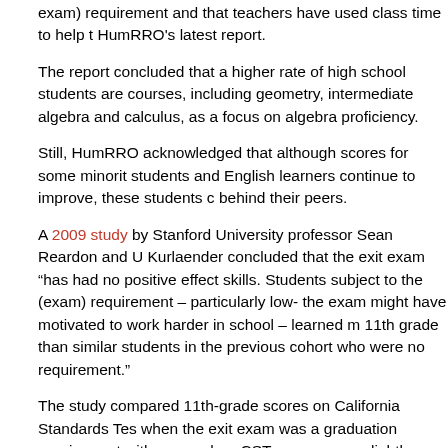exam) requirement and that teachers have used class time to help t HumRRO's latest report.
The report concluded that a higher rate of high school students are courses, including geometry, intermediate algebra and calculus, as a focus on algebra proficiency.
Still, HumRRO acknowledged that although scores for some minority students and English learners continue to improve, these students continue to fall behind their peers.
A 2009 study by Stanford University professor Sean Reardon and U Kurlaender concluded that the exit exam “has had no positive effect on skills. Students subject to the (exam) requirement – particularly low- the exam might have motivated to work harder in school – learned m 11th grade than similar students in the previous cohort who were not subject to the requirement.”
The study compared 11th-grade scores on California Standards Tests when the exit exam was a graduation requirement with years when CST scores were slightly lower among students subject to the exit exam requirement, according to the study. It also made the case that graduation rates of students who were struggling academically declined as a result of the exit exam more than the graduation rates of white students: